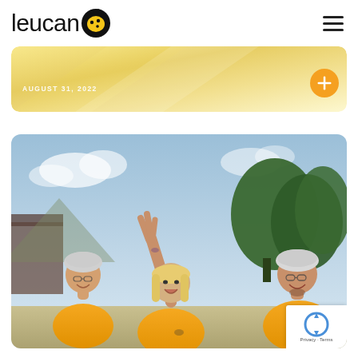leucan [logo with bee icon] — hamburger menu
[Figure (photo): Decorative yellow/gold background image strip with date label AUGUST 31, 2022 and orange plus button]
[Figure (photo): Three smiling people wearing yellow t-shirts and bicycle helmets outdoors, one raising a peace sign. Trees and blue sky in background.]